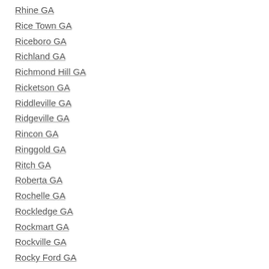Rhine GA
Rice Town GA
Riceboro GA
Richland GA
Richmond Hill GA
Ricketson GA
Riddleville GA
Ridgeville GA
Rincon GA
Ringgold GA
Ritch GA
Roberta GA
Rochelle GA
Rockledge GA
Rockmart GA
Rockville GA
Rocky Ford GA
Rocky Mount GA
Roddy GA